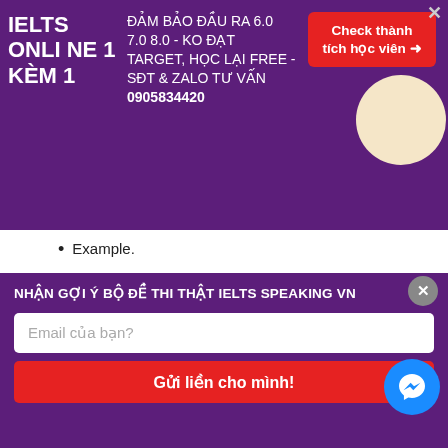[Figure (screenshot): Purple banner advertisement for IELTS online 1-on-1 course with guarantee, phone number 0905834420, and red check button]
Example.
Các khóa học IELTS online 1 kèm 1 - 100% cam kết đạt target 6.0 - 7.0 - 8.0 - Đảm bảo đầu ra - Thi không đạt, học lại FREE
NHẬN GỢI Ý BỘ ĐỀ THI THẬT IELTS SPEAKING VN
Email của bạn?
Gửi liền cho mình!